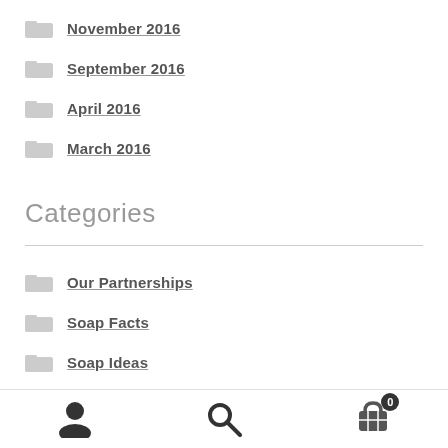November 2016
September 2016
April 2016
March 2016
Categories
Our Partnerships
Soap Facts
Soap Ideas
Uncategorized
User | Search | Cart (0)